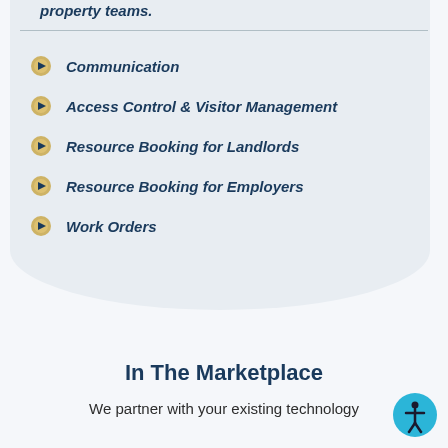property teams.
Communication
Access Control & Visitor Management
Resource Booking for Landlords
Resource Booking for Employers
Work Orders
In The Marketplace
We partner with your existing technology